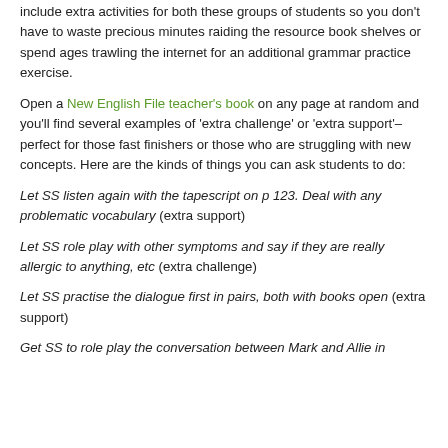include extra activities for both these groups of students so you don't have to waste precious minutes raiding the resource book shelves or spend ages trawling the internet for an additional grammar practice exercise.
Open a New English File teacher's book on any page at random and you'll find several examples of 'extra challenge' or 'extra support'– perfect for those fast finishers or those who are struggling with new concepts. Here are the kinds of things you can ask students to do:
Let SS listen again with the tapescript on p 123. Deal with any problematic vocabulary (extra support)
Let SS role play with other symptoms and say if they are really allergic to anything, etc (extra challenge)
Let SS practise the dialogue first in pairs, both with books open (extra support)
Get SS to role play the conversation between Mark and Allie in